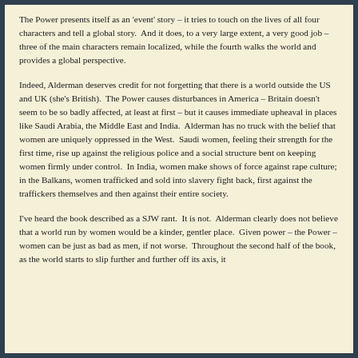The Power presents itself as an 'event' story – it tries to touch on the lives of all four characters and tell a global story.  And it does, to a very large extent, a very good job – three of the main characters remain localized, while the fourth walks the world and provides a global perspective.
Indeed, Alderman deserves credit for not forgetting that there is a world outside the US and UK (she's British).  The Power causes disturbances in America – Britain doesn't seem to be so badly affected, at least at first – but it causes immediate upheaval in places like Saudi Arabia, the Middle East and India.  Alderman has no truck with the belief that women are uniquely oppressed in the West.  Saudi women, feeling their strength for the first time, rise up against the religious police and a social structure bent on keeping women firmly under control.  In India, women make shows of force against rape culture; in the Balkans, women trafficked and sold into slavery fight back, first against the traffickers themselves and then against their entire society.
I've heard the book described as a SJW rant.  It is not.  Alderman clearly does not believe that a world run by women would be a kinder, gentler place.  Given power – the Power – women can be just as bad as men, if not worse.  Throughout the second half of the book, as the world starts to slip further and further off its axis, it